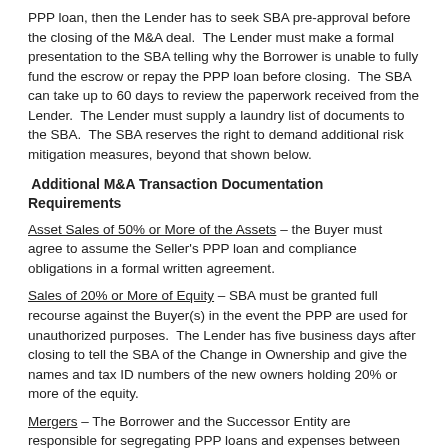PPP loan, then the Lender has to seek SBA pre-approval before the closing of the M&A deal.  The Lender must make a formal presentation to the SBA telling why the Borrower is unable to fully fund the escrow or repay the PPP loan before closing.  The SBA can take up to 60 days to review the paperwork received from the Lender.  The Lender must supply a laundry list of documents to the SBA.  The SBA reserves the right to demand additional risk mitigation measures, beyond that shown below.
Additional M&A Transaction Documentation Requirements
Asset Sales of 50% or More of the Assets – the Buyer must agree to assume the Seller's PPP loan and compliance obligations in a formal written agreement.
Sales of 20% or More of Equity – SBA must be granted full recourse against the Buyer(s) in the event the PPP are used for unauthorized purposes.  The Lender has five business days after closing to tell the SBA of the Change in Ownership and give the names and tax ID numbers of the new owners holding 20% or more of the equity.
Mergers – The Borrower and the Successor Entity are responsible for segregating PPP loans and expenses between the old Borrower and the Surviving entity, if the Surviving Entity has a PPP loan of its own.      The [Lend]er has five business days after closing to tell the SBA of the Change [in ownership...]